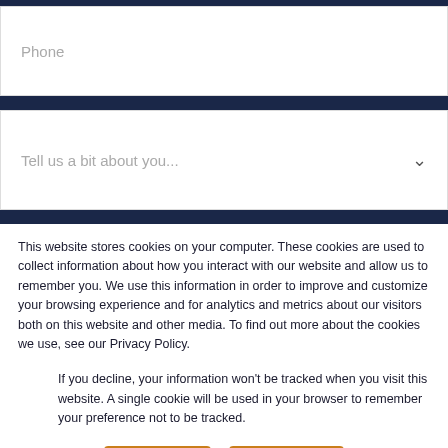Phone
Tell us a bit about you...
This website stores cookies on your computer. These cookies are used to collect information about how you interact with our website and allow us to remember you. We use this information in order to improve and customize your browsing experience and for analytics and metrics about our visitors both on this website and other media. To find out more about the cookies we use, see our Privacy Policy.
If you decline, your information won't be tracked when you visit this website. A single cookie will be used in your browser to remember your preference not to be tracked.
Accept
Decline